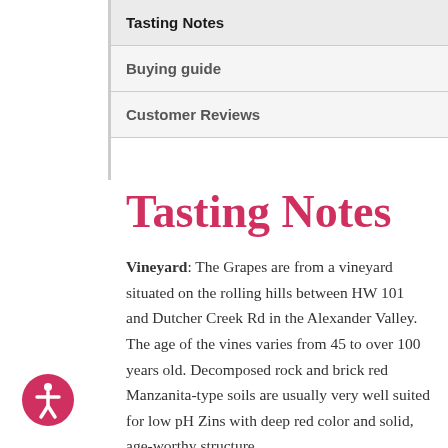Tasting Notes
Buying guide
Customer Reviews
Tasting Notes
Vineyard: The Grapes are from a vineyard situated on the rolling hills between HW 101 and Dutcher Creek Rd in the Alexander Valley. The age of the vines varies from 45 to over 100 years old. Decomposed rock and brick red Manzanita-type soils are usually very well suited for low pH Zins with deep red color and solid, age-worthy structure.
Vintage: It would be easy to say that the